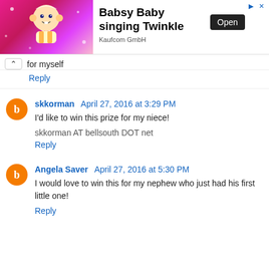[Figure (other): Advertisement banner for Babsy Baby singing Twinkle app by Kaufcom GmbH, with cartoon baby image on pink background, Open button, and close/arrow icons.]
for myself
Reply
skkorman  April 27, 2016 at 3:29 PM
I'd like to win this prize for my niece!
skkorman AT bellsouth DOT net
Reply
Angela Saver  April 27, 2016 at 5:30 PM
I would love to win this for my nephew who just had his first little one!
Reply